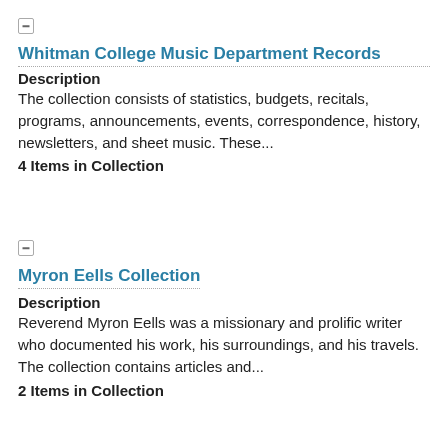Whitman College Music Department Records
Description
The collection consists of statistics, budgets, recitals, programs, announcements, events, correspondence, history, newsletters, and sheet music. These...
4 Items in Collection
Myron Eells Collection
Description
Reverend Myron Eells was a missionary and prolific writer who documented his work, his surroundings, and his travels. The collection contains articles and...
2 Items in Collection